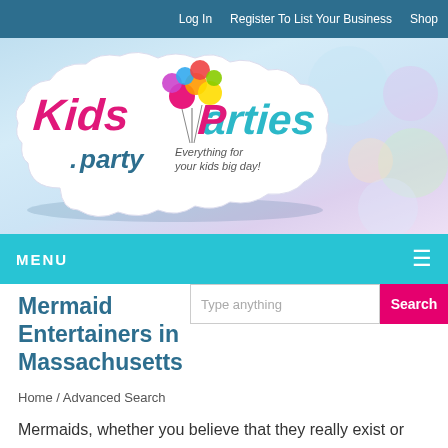Log In   Register To List Your Business   Shop
[Figure (logo): KidsParties.party logo with colorful balloon bouquet on a cloud shape with text 'Everything for your kids big day!' on a light blue gradient background with pastel colored bubble decorations]
MENU ≡
Mermaid Entertainers in Massachusetts
Type anything
Search
Home / Advanced Search
Mermaids, whether you believe that they really exist or not, have captivated people's imaginations for centuries. Not only are mermaids beautiful but they are also incredibly mysterious. An elegant and exotic siren will entertain your guests with tales